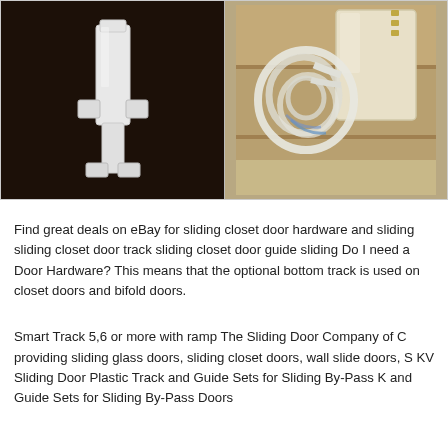[Figure (photo): Two product photos side by side: left shows a white plastic sliding door guide/track piece against a dark brown background; right shows a cream/ivory colored plastic block component with rope tied around it, resting on a wooden surface.]
Find great deals on eBay for sliding closet door hardware and sliding sliding closet door track sliding closet door guide sliding Do I need a Door Hardware? This means that the optional bottom track is used on closet doors and bifold doors.
Smart Track 5,6 or more with ramp The Sliding Door Company of C providing sliding glass doors, sliding closet doors, wall slide doors, S KV Sliding Door Plastic Track and Guide Sets for Sliding By-Pass K and Guide Sets for Sliding By-Pass Doors